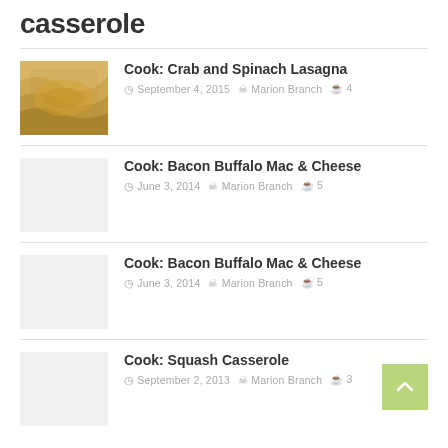casserole
Cook: Crab and Spinach Lasagna — September 4, 2015 — Marion Branch — 4 comments
Cook: Bacon Buffalo Mac & Cheese — June 3, 2014 — Marion Branch — 5 comments
Cook: Bacon Buffalo Mac & Cheese — June 3, 2014 — Marion Branch — 5 comments
Cook: Squash Casserole — September 2, 2013 — Marion Branch — 3 comments